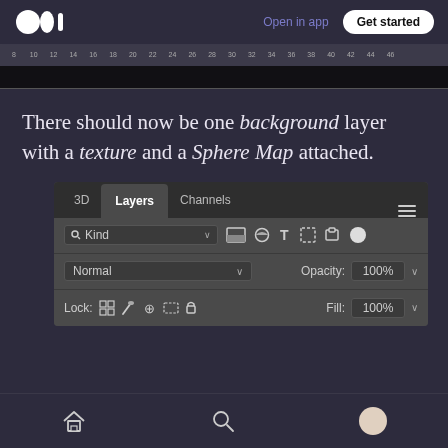Open in app | Get started
[Figure (screenshot): Photoshop timeline ruler strip showing numbered markers from 8 to 46]
There should now be one background layer with a texture and a Sphere Map attached.
[Figure (screenshot): Photoshop Layers panel showing tabs 3D, Layers (active), Channels, with search/kind dropdown, Normal blend mode, Opacity 100%, Lock controls, Fill 100%]
Home | Search | Profile